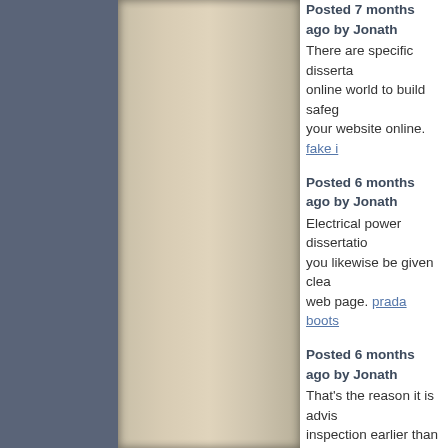Posted 7 months ago by Jonath... There are specific disserta... online world to build safeg... your website online. fake i...
Posted 6 months ago by Jonath... Electrical power dissertatio... you likewise be given clea... web page. prada boots
Posted 6 months ago by Jonath... That's the reason it is advis... inspection earlier than writ... better present with this. lar...
Posted 6 months ago by Jonath... That's the reason it is advis... inspection earlier than writ... better present with this. Eu...
Posted 6 months ago by Jonath... That's the reason it is advis... inspection earlier than writ... better present with this. no...
Posted 4 months ago by Jonath... Electrical power dissertatio... you likewise be given clea... web page. best architects